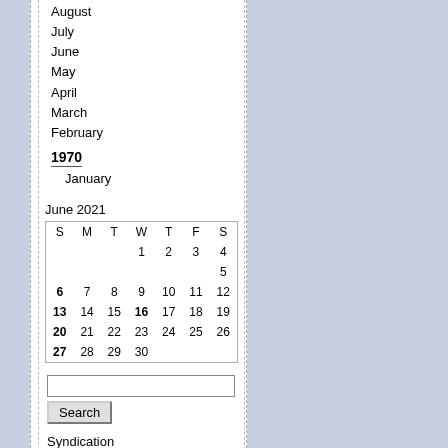August
July
June
May
April
March
February
1970
January
[Figure (other): June 2021 calendar widget showing days S M T W T F S with bold links on 6, 13, 16, 20, 27]
Search
Syndication
[Figure (logo): RSS 2.0 badge with orange RSS label and green 2.0 text]